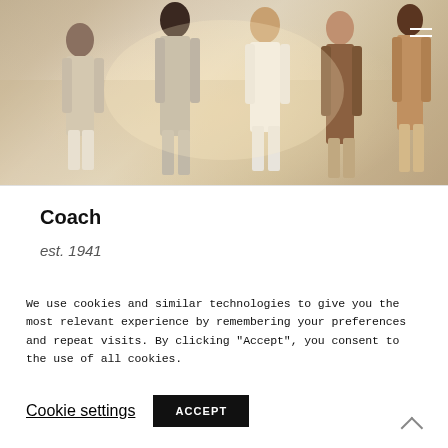[Figure (photo): Fashion photo showing five female models in bohemian/western style outfits (white dresses, suede fringe vest, brown coat) standing outdoors in a desert/beach setting with warm golden light]
Coach
est. 1941
We use cookies and similar technologies to give you the most relevant experience by remembering your preferences and repeat visits. By clicking “Accept”, you consent to the use of all cookies.
Cookie settings
ACCEPT